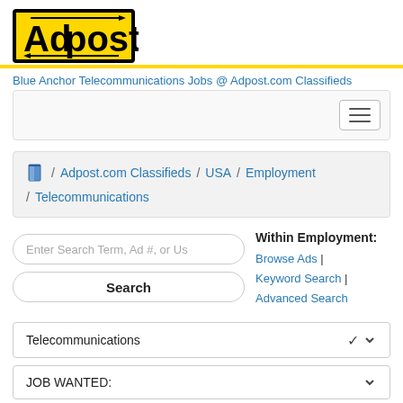[Figure (logo): Adpost logo — black text on yellow background with black border, arrows design]
Blue Anchor Telecommunications Jobs @ Adpost.com Classifieds
[Figure (screenshot): Navigation bar with hamburger menu icon on right]
/ Adpost.com Classifieds / USA / Employment / Telecommunications (breadcrumb navigation)
Within Employment: Browse Ads | Keyword Search | Advanced Search
Enter Search Term, Ad #, or Us
Search
Telecommunications dropdown
JOB WANTED: dropdown